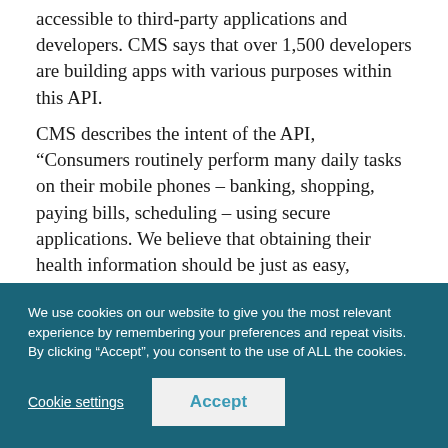accessible to third-party applications and developers. CMS says that over 1,500 developers are building apps with various purposes within this API.

CMS describes the intent of the API, “Consumers routinely perform many daily tasks on their mobile phones – banking, shopping, paying bills, scheduling – using secure applications. We believe that obtaining their health information should be just as easy, convenient, and user-friendly.”
We use cookies on our website to give you the most relevant experience by remembering your preferences and repeat visits. By clicking “Accept”, you consent to the use of ALL the cookies.